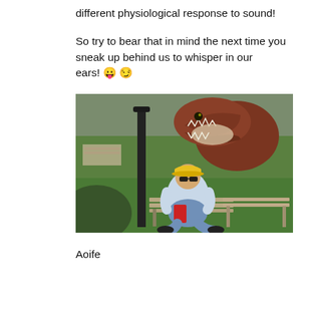different physiological response to sound!
So try to bear that in mind the next time you sneak up behind us to whisper in our ears! 😛 😉
[Figure (photo): A humorous photo composite showing a person in a yellow cap and sunglasses sitting on a park bench looking at their phone, while a large dinosaur (T-Rex) looms behind them with its mouth open. The scene is set in a green park with benches and trees.]
Aoife